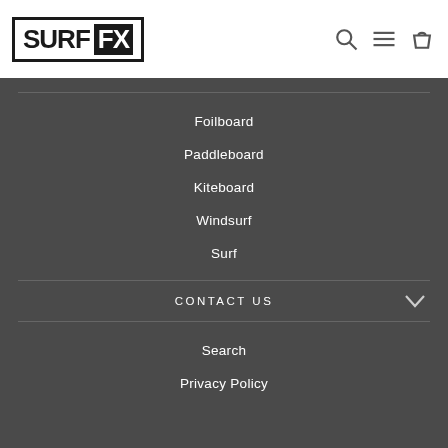[Figure (logo): SURF FX logo with SURF in black border box and FX on black background]
Foilboard
Paddleboard
Kiteboard
Windsurf
Surf
CONTACT US
Search
Privacy Policy